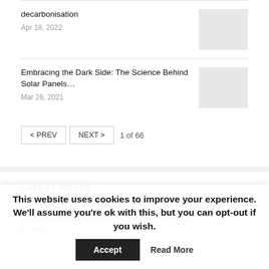decarbonisation
Apr 18, 2022
Embracing the Dark Side: The Science Behind Solar Panels…
Mar 26, 2021
< PREV   NEXT >   1 of 66
LATEST POSTS
LONGi among 50 best-managed companies in China
This website uses cookies to improve your experience. We'll assume you're ok with this, but you can opt-out if you wish.
Accept   Read More